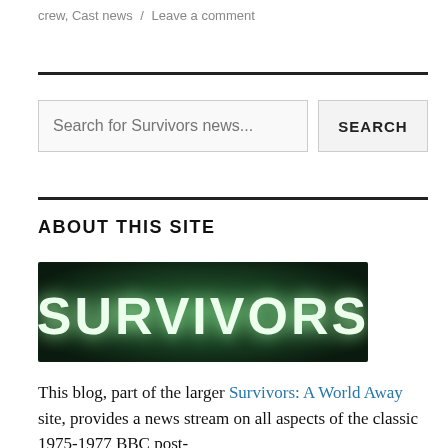crew, Cast news / Leave a comment
ABOUT THIS SITE
[Figure (logo): SURVIVORS logo — white stencil-style text on dark green/black background]
This blog, part of the larger Survivors: A World Away site, provides a news stream on all aspects of the classic 1975-1977 BBC post-